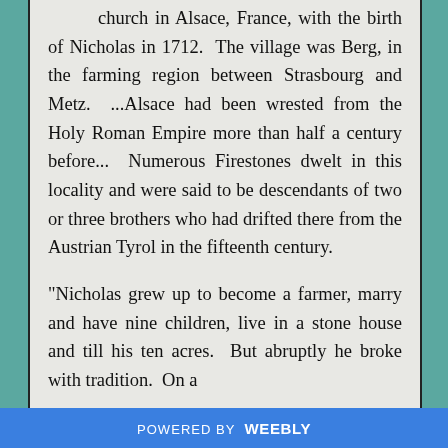church in Alsace, France, with the birth of Nicholas in 1712. The village was Berg, in the farming region between Strasbourg and Metz. ...Alsace had been wrested from the Holy Roman Empire more than half a century before... Numerous Firestones dwelt in this locality and were said to be descendants of two or three brothers who had drifted there from the Austrian Tyrol in the fifteenth century.
"Nicholas grew up to become a farmer, marry and have nine children, live in a stone house and till his ten acres. But abruptly he broke with tradition. On a
POWERED BY weebly